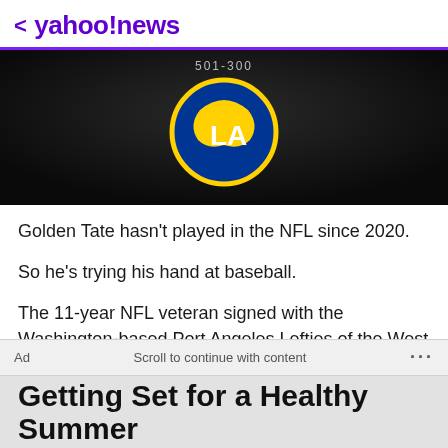< yahoo!news
[Figure (photo): Dark background image showing a LA Rams hat/helmet logo in gold and white. Text overlay reads '501-300'.]
Golden Tate hasn't played in the NFL since 2020.
So he's trying his hand at baseball.
The 11-year NFL veteran signed with the Washington-based Port Angeles Lefties of the West Coast League on Tuesday. The WCL announced the signing alongside a statement from Tate.
Ad    Scroll to continue with content    ...
Getting Set for a Healthy Summer